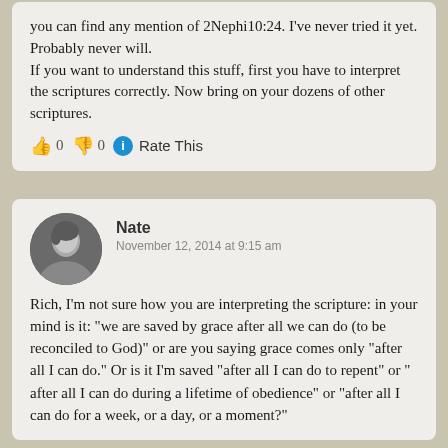you can find any mention of 2Nephi10:24. I've never tried it yet. Probably never will.
If you want to understand this stuff, first you have to interpret the scriptures correctly. Now bring on your dozens of other scriptures.
👍 0 👎 0 ℹ Rate This
Nate
November 12, 2014 at 9:15 am
Rich, I'm not sure how you are interpreting the scripture: in your mind is it: "we are saved by grace after all we can do (to be reconciled to God)" or are you saying grace comes only "after all I can do." Or is it I'm saved "after all I can do to repent" or " after all I can do during a lifetime of obedience" or "after all I can do for a week, or a day, or a moment?"